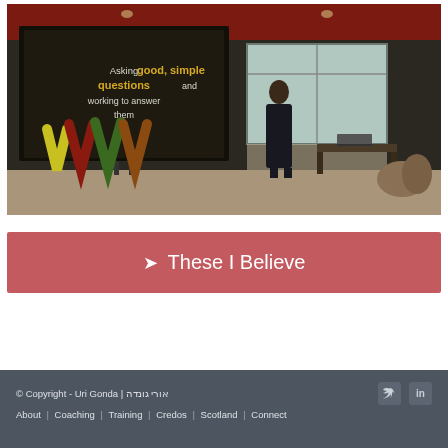[Figure (photo): A person presenting at a conference or workshop room. A large screen behind them shows text: 'Asking good, simple questions and working to answer them'. The room has a red/orange ceiling, large windows, and colorful V-shaped decorations on the floor. There are various chairs and furniture around the room.]
➤  These I Believe
© Copyright - Uri Gonda | אורי גונדה    About  |  Coaching  |  Training  |  Credos  |  Scotland  |  Connect